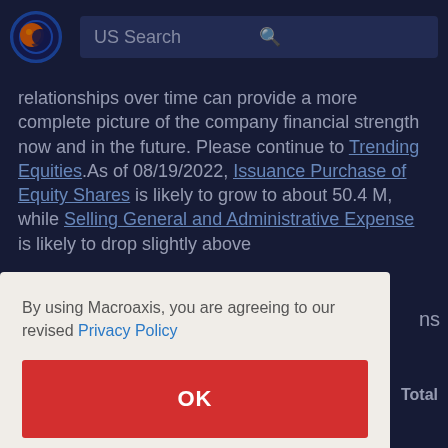US Search
relationships over time can provide a more complete picture of the company financial strength now and in the future. Please continue to Trending Equities. As of 08/19/2022, Issuance Purchase of Equity Shares is likely to grow to about 50.4 M, while Selling General and Administrative Expense is likely to drop slightly above 1.0 M
By using Macroaxis, you are agreeing to our revised Privacy Policy
OK
Total